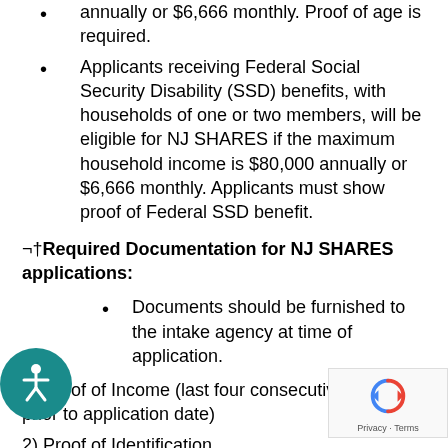annually or $6,666 monthly. Proof of age is required.
Applicants receiving Federal Social Security Disability (SSD) benefits, with households of one or two members, will be eligible for NJ SHARES if the maximum household income is $80,000 annually or $6,666 monthly. Applicants must show proof of Federal SSD benefit.
¬†Required Documentation for NJ SHARES applications:
Documents should be furnished to the intake agency at time of application.
1) Proof of Income (last four consecutive weeks prior to application date)
2) Proof of Identification